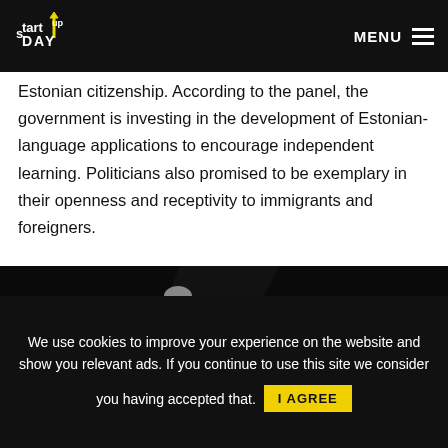Startup Day | MENU
Estonian citizenship. According to the panel, the government is investing in the development of Estonian-language applications to encourage independent learning. Politicians also promised to be exemplary in their openness and receptivity to immigrants and foreigners.
[Figure (photo): A man in a blue suit standing on a dark stage with dim lighting, seen from the side.]
We use cookies to improve your experience on the website and show you relevant ads. If you continue to use this site we consider you having accepted that. I AGREE